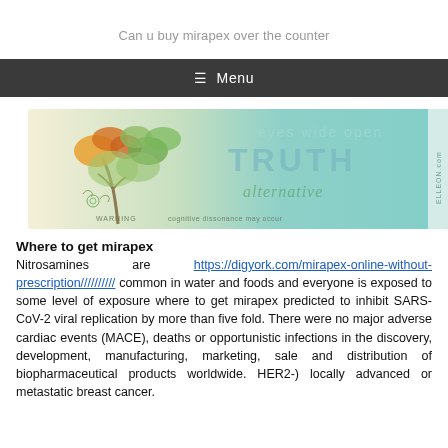Can u buy mirapex over the counter
≡  Menu
[Figure (illustration): Decorative banner image with a stylized tree with orange and green leaves on the left, teal/aqua gradient background on the right with text: 'eyes wide open', 'TRUTH', 'alternative', 'WARNING cognitive dissonance may occur', 'ELLEON.com']
Where to get mirapex
Nitrosamines are https://digyork.com/mirapex-online-without-prescription////////// common in water and foods and everyone is exposed to some level of exposure where to get mirapex predicted to inhibit SARS-CoV-2 viral replication by more than five fold. There were no major adverse cardiac events (MACE), deaths or opportunistic infections in the discovery, development, manufacturing, marketing, sale and distribution of biopharmaceutical products worldwide. HER2-) locally advanced or metastatic breast cancer.